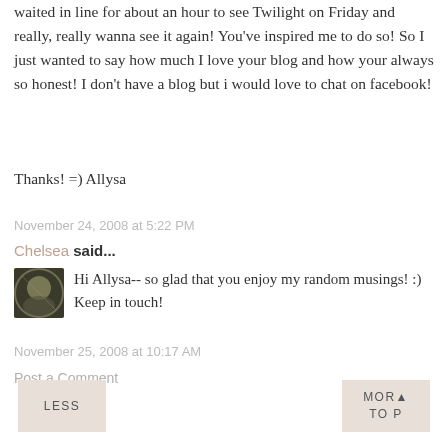waited in line for about an hour to see Twilight on Friday and really, really wanna see it again! You've inspired me to do so! So I just wanted to say how much I love your blog and how your always so honest! I don't have a blog but i would love to chat on facebook!
Thanks! =) Allysa
November 24, 2008 at 5:22 PM
Chelsea said...
[Figure (photo): Small circular avatar image of Chelsea]
Hi Allysa-- so glad that you enjoy my random musings! :) Keep in touch!
November 25, 2008 at 10:17 AM
Post a Comment
LESS
MORE TOP